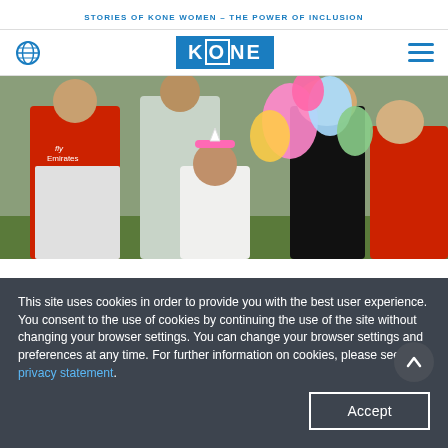STORIES OF KONE WOMEN – THE POWER OF INCLUSION
[Figure (logo): KONE website navigation bar with globe icon on left, KONE blue logo in center, hamburger menu on right]
[Figure (photo): Family group photo outdoors with children and adults, colorful balloons including unicorn balloon, boy in red Arsenal football jersey, girl in unicorn headband in center]
This site uses cookies in order to provide you with the best user experience. You consent to the use of cookies by continuing the use of the site without changing your browser settings. You can change your browser settings and preferences at any time. For further information on cookies, please see our privacy statement.